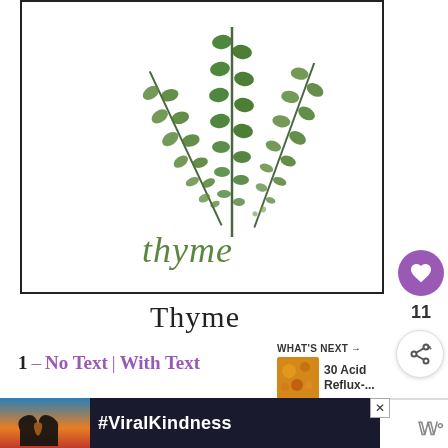[Figure (illustration): Watercolor illustration of three thyme sprigs arranged in a fan/bouquet shape with the word 'thyme' written in cursive green script below the stems, all within a black-bordered rectangle]
Thyme
1 – No Text | With Text
WHAT'S NEXT → 30 Acid Reflux-....
[Figure (photo): Advertisement banner with dark background showing hands forming a heart shape silhouette against a colorful sunset sky, with text #ViralKindness]